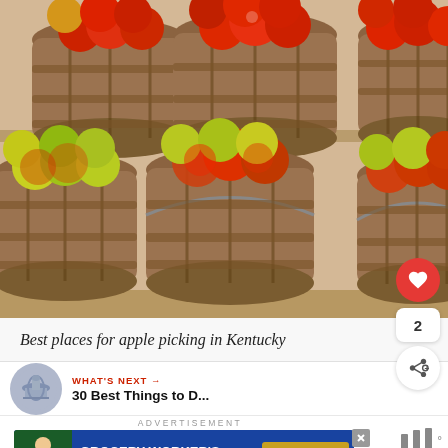[Figure (photo): Photo of multiple wooden bushel baskets filled with red apples, arranged on shelves at a farm market]
Best places for apple picking in Kentucky
[Figure (infographic): Heart (like) button showing count of 2 and a share button]
WHAT'S NEXT → 30 Best Things to D...
ADVERTISEMENT
[Figure (screenshot): Advertisement banner: GROCERY WORKER'S APPRECIATION FUND with Kendall Jackson and United Way logos]
[Figure (other): Weather widget icon showing bars]